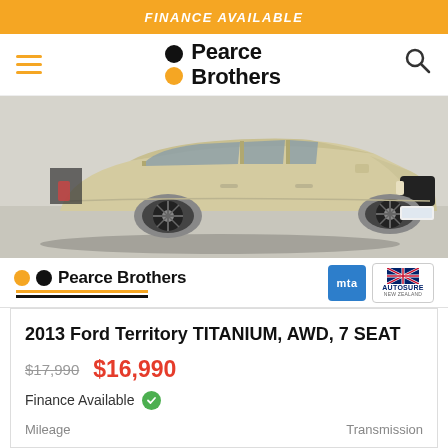FINANCE AVAILABLE
[Figure (logo): Pearce Brothers logo with hamburger menu and search icon in navigation bar]
[Figure (photo): 2013 Ford Territory TITANIUM AWD 7 Seat SUV in light gold/champagne color, front three-quarter view in a dealership showroom]
[Figure (logo): Pearce Brothers dealer strip with MTA and Autosure New Zealand badges]
2013 Ford Territory TITANIUM, AWD, 7 SEAT
$17,990  $16,990
Finance Available
Mileage    Transmission